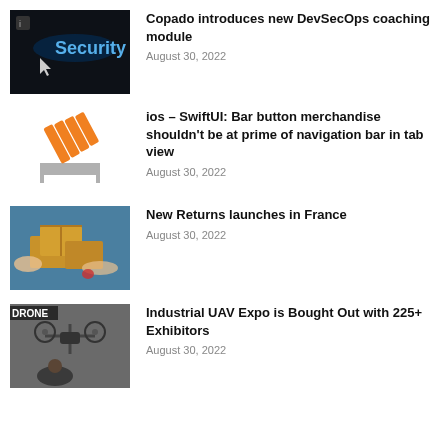[Figure (photo): Dark background with glowing blue text 'Security' and a hand cursor icon]
Copado introduces new DevSecOps coaching module
August 30, 2022
[Figure (logo): Stack Overflow logo style icon with orange diagonal lines going into a gray inbox tray]
ios – SwiftUI: Bar button merchandise shouldn't be at prime of navigation bar in tab view
August 30, 2022
[Figure (photo): Person handing cardboard packages / boxes, logistics returns scene]
New Returns launches in France
August 30, 2022
[Figure (photo): Man operating a drone/UAV with DRONE magazine text visible, industrial UAV expo scene]
Industrial UAV Expo is Bought Out with 225+ Exhibitors
August 30, 2022